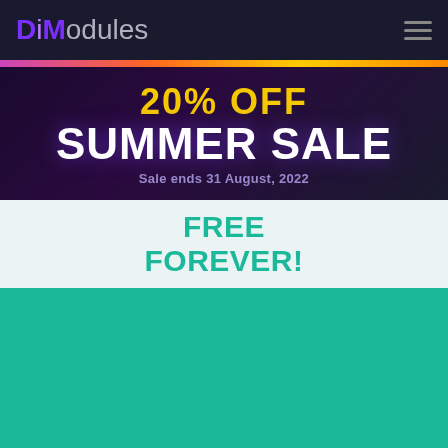[Figure (logo): DiModules logo with purple and gray lettering on dark background, with hamburger menu icon on the right]
[Figure (infographic): Summer sale banner: '20% OFF' in yellow bold text, 'SUMMER SALE' in large white bold text, 'Sale ends 31 August, 2022' in purple text, on dark purple background with colorful gradient stripe at top]
FREE FOREVER!
[Figure (other): Solid teal/turquoise background section]